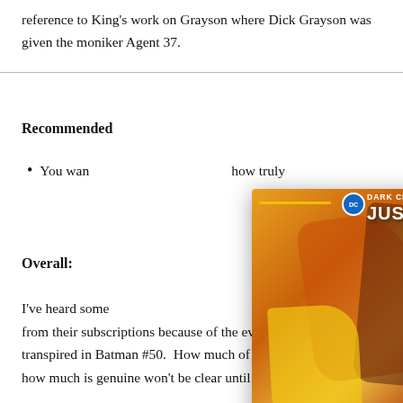reference to King's work on Grayson where Dick Grayson was given the moniker Agent 37.
Recommended
You wan… how truly…
Overall:
[Figure (screenshot): Popup overlay showing a Dark Crisis: Young Justice #3 comic book cover with orange/yellow/red tones, featuring superhero figures. Overlay has close button (X), three-dot menu, and a forward arrow button. Caption bar reads 'Dark Crisis: YoungJustice#3 review']
I've heard some… from their subscriptions because of the events that transpired in Batman #50.  How much of this is talk and how much is genuine won't be clear until the numbers for